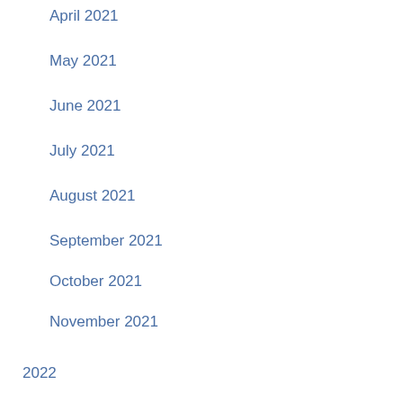April 2021
May 2021
June 2021
July 2021
August 2021
September 2021
October 2021
November 2021
2022
January 2022
February 2022
March 2022
April 2022